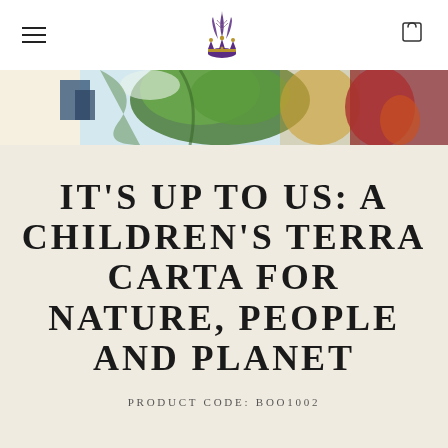[Figure (screenshot): Navigation bar with hamburger menu icon on left, royal feathers crest logo in center, shopping bag icon on right]
[Figure (photo): Colorful banner image showing a partial view of an illustrated or painted scene with greens, blues, reds, and warm tones — appears to be flora/fauna or nature art]
IT'S UP TO US: A CHILDREN'S TERRA CARTA FOR NATURE, PEOPLE AND PLANET
PRODUCT CODE: BOO1002